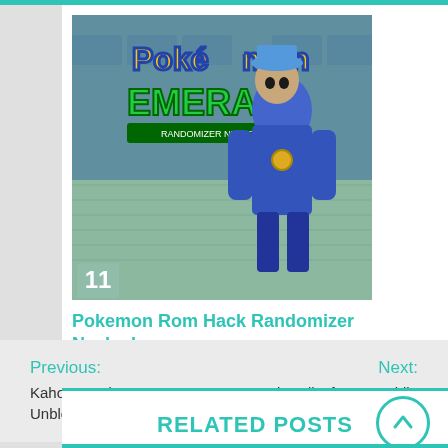[Figure (screenshot): Pokemon Emerald Randomizer Nuzlocke game cover image showing a character in blue outfit with a hat, with the Pokemon and Emerald logos visible, and a number 11 in the bottom left corner]
Pokemon Rom Hack Randomizer Nuzlocke
Previous: Kahoot Hack Answers Unblocked
Next: Hack Call Of Duty Mobile Gameloop
RELATED POSTS